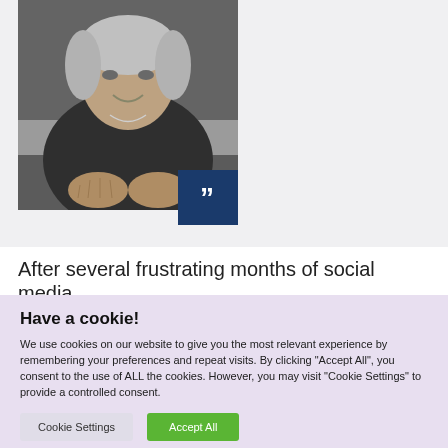[Figure (photo): Black and white photo of an older woman sitting at a table with hands clasped, wearing a dark top with a necklace, smiling]
After several frustrating months of social media
Have a cookie!
We use cookies on our website to give you the most relevant experience by remembering your preferences and repeat visits. By clicking "Accept All", you consent to the use of ALL the cookies. However, you may visit "Cookie Settings" to provide a controlled consent.
Cookie Settings | Accept All